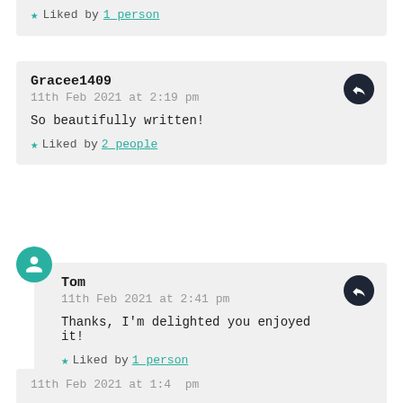Liked by 1 person
Gracee1409
11th Feb 2021 at 2:19 pm

So beautifully written!

Liked by 2 people
Tom
11th Feb 2021 at 2:41 pm

Thanks, I'm delighted you enjoyed it!

Liked by 1 person
(partial comment below)